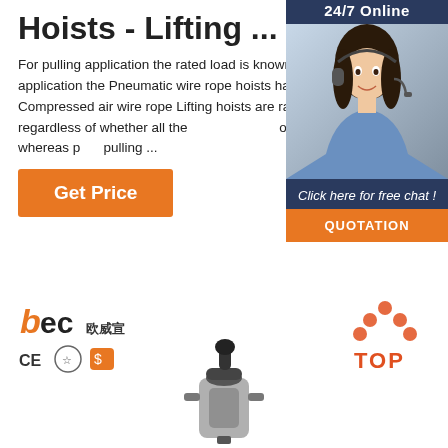Hoists - Lifting ...
For pulling application the rated load is known as the capacity and for lifting application the Pneumatic wire rope hoists have a safe working load (SWL). Compressed air wire rope Lifting hoists are rated at a maximum capacity (SWL) regardless of whether all the on or fully discharged off the drum whereas pulling ...
[Figure (photo): Customer service representative with headset, 24/7 online chat widget with orange QUOTATION button]
[Figure (logo): BEC logo with Chinese characters and CE certification icons]
[Figure (photo): Pneumatic wire rope hoist product image]
[Figure (other): TOP navigation button with orange dots arrow icon]